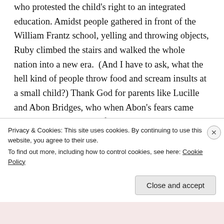who protested the child's right to an integrated education. Amidst people gathered in front of the William Frantz school, yelling and throwing objects, Ruby climbed the stairs and walked the whole nation into a new era.  (And I have to ask, what the hell kind of people throw food and scream insults at a small child?) Thank God for parents like Lucille and Abon Bridges, who when Abon's fears came true, stood their ground for their daughter's rights.  Who, when Ruby's life was threatened, still found a way to press forward.  Who struggled alongside their daughter emotionally and psychologically, and didn't quit because of other people.  Who overcame the greatest adversity a parent can, fearing for the safety and health of your child,
Privacy & Cookies: This site uses cookies. By continuing to use this website, you agree to their use.
To find out more, including how to control cookies, see here: Cookie Policy